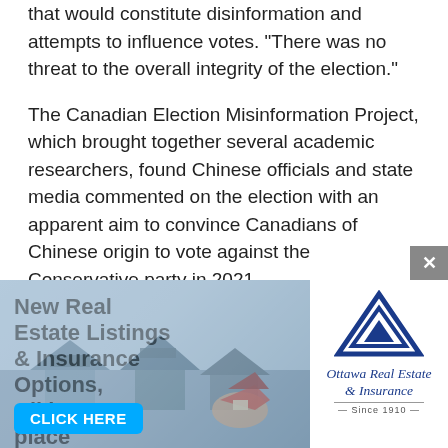that would constitute disinformation and attempts to influence votes. "There was no threat to the overall integrity of the election."
The Canadian Election Misinformation Project, which brought together several academic researchers, found Chinese officials and state media commented on the election with an apparent aim to convince Canadians of Chinese origin to vote against the Conservative party in 2021.
"Misleading information and information critical of certain candidates circulated on Chinese language…
[Figure (infographic): Advertisement banner for Ottawa Real Estate & Insurance featuring bold text 'New Real Estate Listings & Insurance Options, All in one place', a blue triangle/house logo, the company name in italic script 'Ottawa Real Estate & Insurance Since 1910', a photo background of houses and a hand holding a model house, and a 'CLICK HERE' button in cyan.]